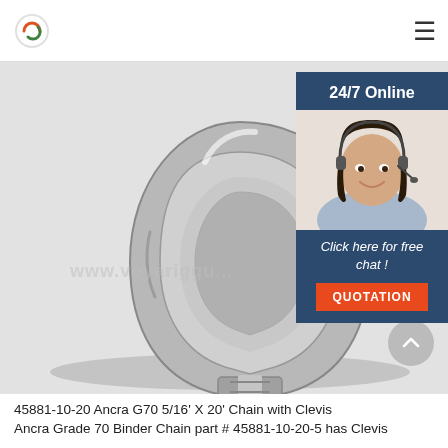Logo and navigation menu
[Figure (photo): A steel wire rope thimble / clevis hook hardware component photographed on a light gray background. The metal part is teardrop-shaped with a grooved channel around its perimeter. Watermark text 'www.voyariggu...' visible in center.]
[Figure (photo): Chat widget overlay showing a female customer service representative wearing a headset, smiling. Widget has dark navy background with '24/7 Online' header text, 'Click here for free chat!' tagline in italic, and an orange 'QUOTATION' button.]
45881-10-20 Ancra G70 5/16' X 20' Chain with Clevis Ancra Grade 70 Binder Chain part # 45881-10-20-5 has Clevis